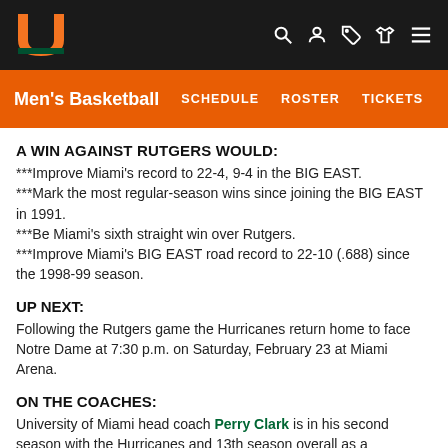University of Miami Men's Basketball — SCHEDULE | ROSTER | TICKETS
A WIN AGAINST RUTGERS WOULD:
***Improve Miami's record to 22-4, 9-4 in the BIG EAST.
***Mark the most regular-season wins since joining the BIG EAST in 1991.
***Be Miami's sixth straight win over Rutgers.
***Improve Miami's BIG EAST road record to 22-10 (.688) since the 1998-99 season.
UP NEXT:
Following the Rutgers game the Hurricanes return home to face Notre Dame at 7:30 p.m. on Saturday, February 23 at Miami Arena.
ON THE COACHES:
University of Miami head coach Perry Clark is in his second season with the Hurricanes and 13th season overall as a